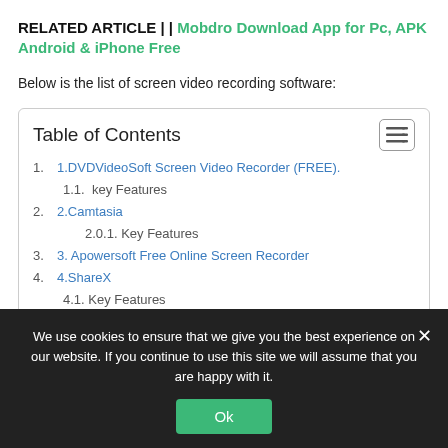RELATED ARTICLE | | Mobdro Download App for Pc, APK Android & iPhone Free
Below is the list of screen video recording software:
Table of Contents
1. 1.DVDVideoSoft Screen Video Recorder (FREE).
1.1. key Features
2. 2.Camtasia
2.0.1. Key Features
3. 3. Apowersoft Free Online Screen Recorder
4. 4.ShareX
4.1. Key Features
We use cookies to ensure that we give you the best experience on our website. If you continue to use this site we will assume that you are happy with it.